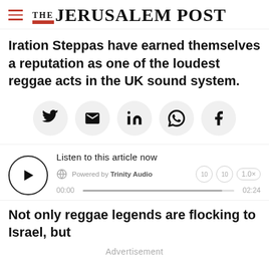THE JERUSALEM POST
Iration Steppas have earned themselves a reputation as one of the loudest reggae acts in the UK sound system.
[Figure (other): Social sharing icons: Twitter, Email, LinkedIn, WhatsApp, Facebook]
[Figure (other): Audio player: Listen to this article now. Powered by Trinity Audio. Timestamp 00:00 to 02:24 at 1.0x speed.]
Not only reggae legends are flocking to Israel, but
Advertisement